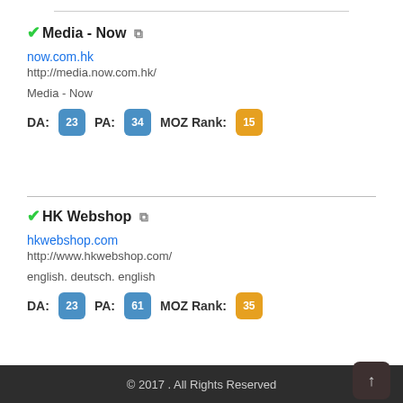✓Media - Now ↗
now.com.hk
http://media.now.com.hk/
Media - Now
DA: 29 PA: 34 MOZ Rank: 15
✓HK Webshop ↗
hkwebshop.com
http://www.hkwebshop.com/
english. deutsch. english
DA: 23 PA: 61 MOZ Rank: 35
© 2017 . All Rights Reserved